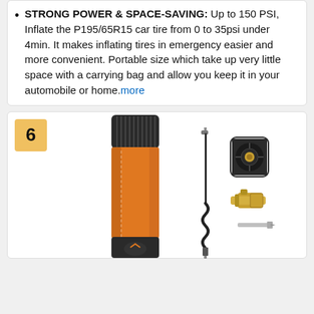STRONG POWER & SPACE-SAVING: Up to 150 PSI, Inflate the P195/65R15 car tire from 0 to 35psi under 4min. It makes inflating tires in emergency easier and more convenient. Portable size which take up very little space with a carrying bag and allow you keep it in your automobile or home. more
[Figure (photo): Product listing item #6 showing an orange portable tire inflator/air pump with accessories including an inflation needle, hose with nozzle attachment, a black triangular adapter, a brass connector, and a needle tip. The product is shown against a white background.]